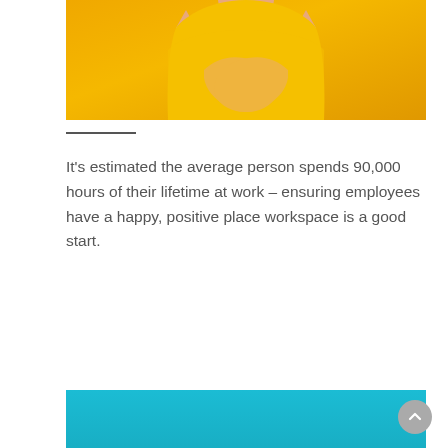[Figure (photo): Cropped photo of a person wearing a yellow shirt with arms crossed, against a yellow background. Only the torso and arms are visible.]
It's estimated the average person spends 90,000 hours of their lifetime at work – ensuring employees have a happy, positive place workspace is a good start.
[Figure (photo): Bottom portion of an image with a teal/cyan background color.]